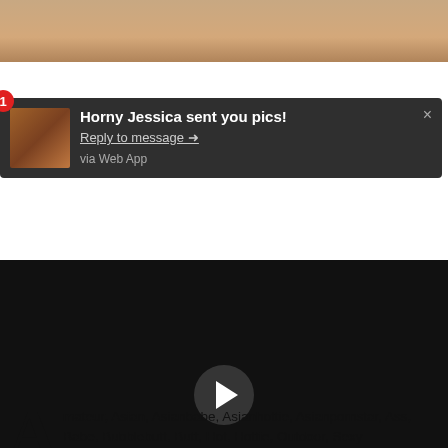[Figure (screenshot): Top portion of a webpage showing a skin-toned background image at the top, a dark notification popup overlay with a thumbnail, bold title text, a reply link, and 'via Web App' text. Below is a black video player with a play button in the center and video controls at the bottom including time display, progress bar, volume, quality options.]
Amateur, Asian, Asianbabe, Asianhottie, Asianpornstar, Ass, Babe, Bubblebutt, Butt, Hot, Hottie, Outdoor, Sexy
Read more #Siri #TitFuck #BigBoobs #HugeBoobs